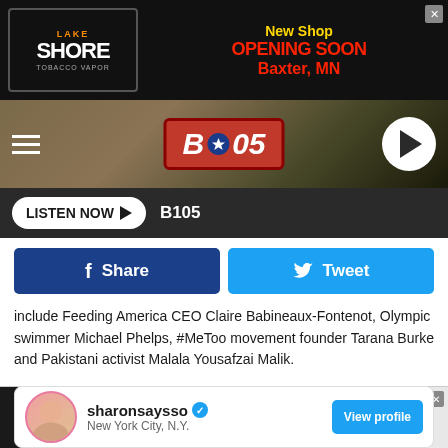[Figure (screenshot): Lake Shore Tobacco Vapor advertisement banner with 'New Shop Opening Soon Baxter, MN' text]
[Figure (screenshot): B105 radio station header with hamburger menu, B105 logo, and play button]
[Figure (screenshot): Listen Now button with B105 label on dark background]
[Figure (screenshot): Facebook Share and Twitter Tweet social sharing buttons]
include Feeding America CEO Claire Babineaux-Fontenot, Olympic swimmer Michael Phelps, #MeToo movement founder Tarana Burke and Pakistani activist Malala Yousafzai Malik.
[Figure (screenshot): sharonsaysso profile card with verified badge, New York City N.Y. location, and View profile button]
[Figure (screenshot): Auto Ace Express Lube advertisement: Get Your Oil Changed Today, No Appointment Needed - Just Pull up to the Door]